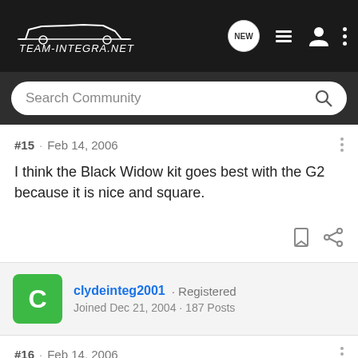Team-Integra.net - navigation bar with NEW, list, user, menu icons and Search Community
#15 · Feb 14, 2006
I think the Black Widow kit goes best with the G2 because it is nice and square.
clydeinteg2001 · Registered
Joined Dec 21, 2004 · 187 Posts
#16 · Feb 14, 2006